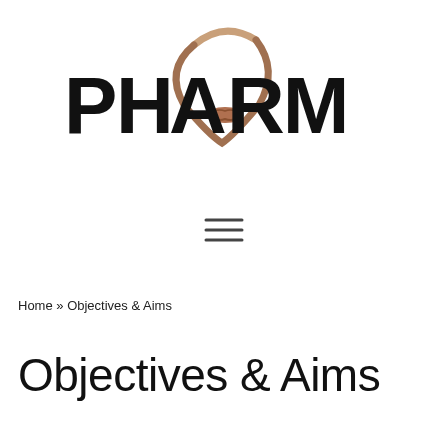[Figure (logo): PHARM logo with stylized eye/face graphic incorporating lips icon in brown/tan tones above bold black PHARM lettering]
[Figure (other): Hamburger menu icon — three horizontal lines]
Home » Objectives & Aims
Objectives & Aims